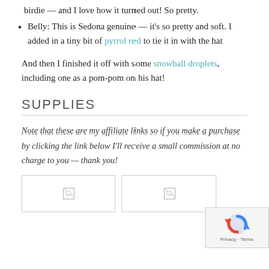birdie — and I love how it turned out! So pretty.
Belly: This is Sedona genuine — it's so pretty and soft. I added in a tiny bit of pyrrol red to tie it in with the hat
And then I finished it off with some snowball droplets, including one as a pom-pom on his hat!
SUPPLIES
Note that these are my affiliate links so if you make a purchase by clicking the link below I'll receive a small commission at no charge to you — thank you!
[Figure (photo): Two product image boxes with broken image icons, and a reCAPTCHA badge overlay in the bottom right corner]